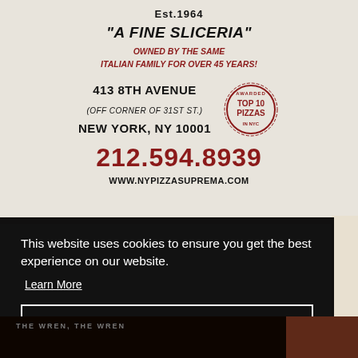[Figure (photo): Photo of a pizza box top showing NY Pizza Suprema branding: Est.1964, 'A Fine Sliceria', owned by same Italian family for over 45 years, address 413 8th Avenue (off corner of 31st St.), New York NY 10001, phone 212.594.8939, website www.nypizzasuprema.com, and an 'Awarded Top 10 Pizzas in NYC' badge.]
This website uses cookies to ensure you get the best experience on our website.
Learn More
Got it!
THE WREN, THE WREN